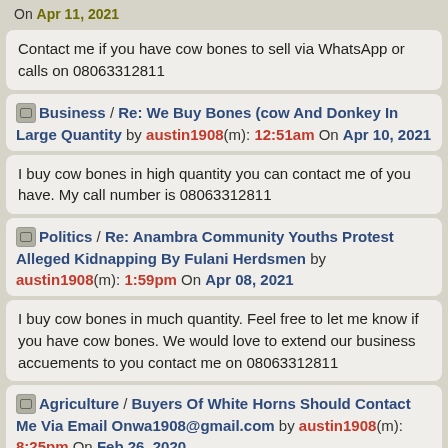On Apr 11, 2021
Contact me if you have cow bones to sell via WhatsApp or calls on 08063312811
Business / Re: We Buy Bones (cow And Donkey In Large Quantity by austin1908(m): 12:51am On Apr 10, 2021
I buy cow bones in high quantity you can contact me of you have. My call number is 08063312811
Politics / Re: Anambra Community Youths Protest Alleged Kidnapping By Fulani Herdsmen by austin1908(m): 1:59pm On Apr 08, 2021
I buy cow bones in much quantity. Feel free to let me know if you have cow bones. We would love to extend our business accuements to you contact me on 08063312811
Agriculture / Buyers Of White Horns Should Contact Me Via Email Onwa1908@gmail.com by austin1908(m): 8:25pm On Feb 26, 2020